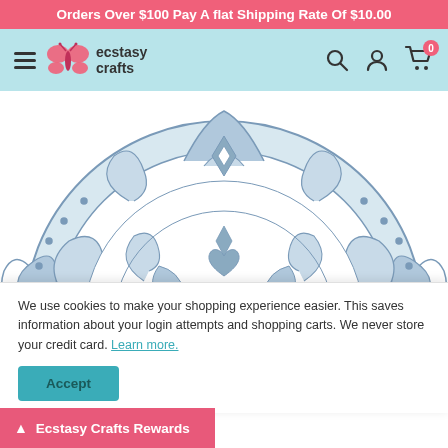Orders Over $100 Pay A flat Shipping Rate Of $10.00
[Figure (logo): Ecstasy Crafts logo with pink butterfly and brand name, navigation bar with hamburger menu, search, account, and cart icons]
[Figure (photo): Ornate decorative lace/die-cut half-circle doily product in blue-grey and white with intricate scrollwork and heart motifs]
We use cookies to make your shopping experience easier. This saves information about your login attempts and shopping carts. We never store your credit card. Learn more.
Accept
Ecstasy Crafts Rewards